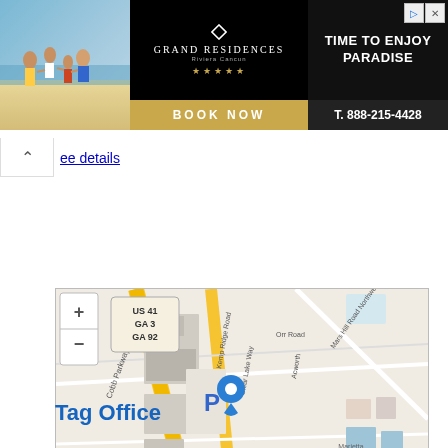[Figure (screenshot): Advertisement banner for Grand Residences Riviera Cancun with beach family photo, logo, BOOK NOW button, and TIME TO ENJOY PARADISE with phone number T. 888-215-4428]
ee details
[Figure (map): OpenStreetMap showing location near Cobb Parkway, Kemp Ridge Road, Clear Lake Way, Acworth, Ballenger Road, Orr Road, Mars Hill Road Northwest, Marietta Water Authority. Shows US 41 / GA 3 / GA 92 intersection. Blue location pin marker and parking symbol P visible. Zoom in/out controls shown. Report a problem | © OpenStreetMap contributors attribution at bottom.]
Tag Office